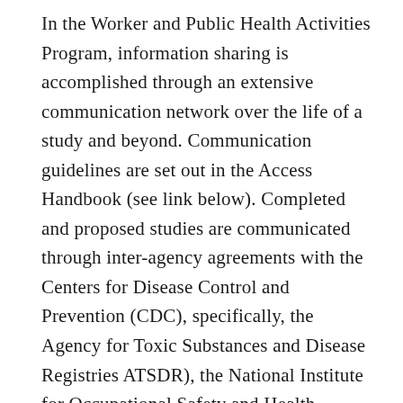In the Worker and Public Health Activities Program, information sharing is accomplished through an extensive communication network over the life of a study and beyond. Communication guidelines are set out in the Access Handbook (see link below). Completed and proposed studies are communicated through inter-agency agreements with the Centers for Disease Control and Prevention (CDC), specifically, the Agency for Toxic Substances and Disease Registries ATSDR), the National Institute for Occupational Safety and Health (NIOSH), and the National Center for Environmental Health (NCEH). Sharing extends to making the analysis database available in perpetuity to other researchers and the public through DOE's